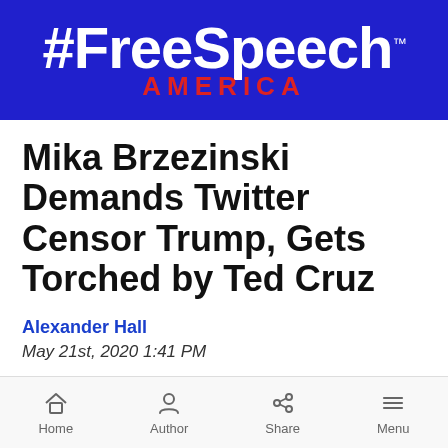[Figure (logo): #FreeSpeech AMERICA logo on blue background with TM mark]
Mika Brzezinski Demands Twitter Censor Trump, Gets Torched by Ted Cruz
Alexander Hall
May 21st, 2020 1:41 PM
Text to Speech
[Figure (other): Audio player with play button, 00:00 timestamps and progress bar]
Home   Author   Share   Menu